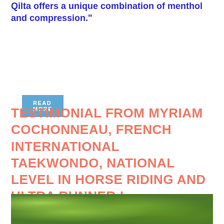Qilta offers a unique combination of menthol and compression."
READ MORE
TESTIMONIAL FROM MYRIAM COCHONNEAU, FRENCH INTERNATIONAL TAEKWONDO, NATIONAL LEVEL IN HORSE RIDING AND ULTRA RUNNER !
[Figure (photo): Outdoor photo showing green tree foliage and forest vegetation]